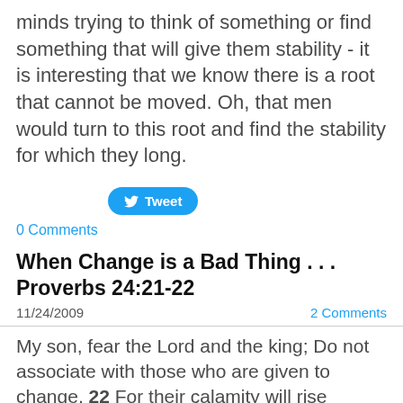minds trying to think of something or find something that will give them stability - it is interesting that we know there is a root that cannot be moved.  Oh, that men would turn to this root and find the stability for which they long.
[Figure (other): Twitter Tweet button with bird icon]
0 Comments
When Change is a Bad Thing . . . Proverbs 24:21-22
11/24/2009
2 Comments
My son, fear the Lord and the king; Do not associate with those who are given to change, 22 For their calamity will rise suddenly, And who knows the ruin that comes from both of them? Proverbs 24:21-22